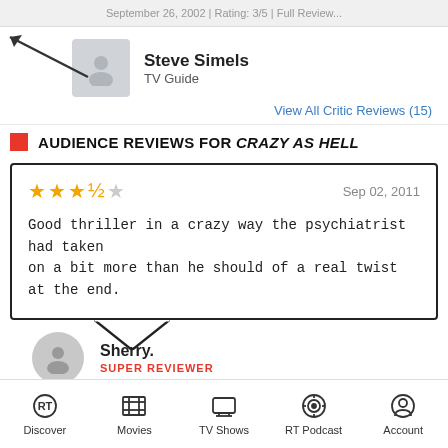September 26, 2002 | Rating: 3/5 | Full Review...
Steve Simels
TV Guide
View All Critic Reviews (15)
AUDIENCE REVIEWS FOR CRAZY AS HELL
★★★½☆  Sep 02, 2011
Good thriller in a crazy way the psychiatrist had taken on a bit more than he should of a real twist at the end.
Sherry.
SUPER REVIEWER
Discover  Movies  TV Shows  RT Podcast  Account